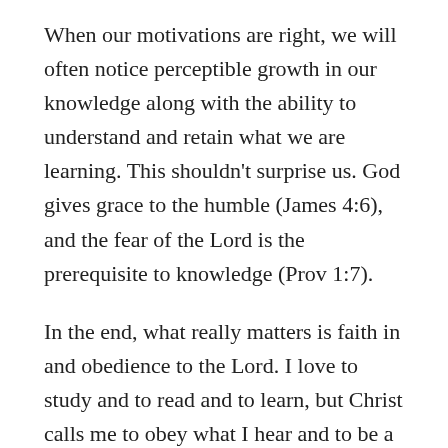When our motivations are right, we will often notice perceptible growth in our knowledge along with the ability to understand and retain what we are learning. This shouldn't surprise us. God gives grace to the humble (James 4:6), and the fear of the Lord is the prerequisite to knowledge (Prov 1:7).
In the end, what really matters is faith in and obedience to the Lord. I love to study and to read and to learn, but Christ calls me to obey what I hear and to be a doer of the Word (James 1:22-25). In order to grow in faith and know how to obey, I must continue to study the Word of God and read good